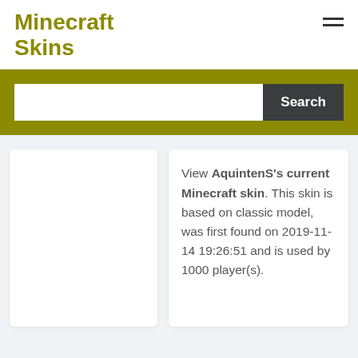Minecraft Skins
View AquintenS's current Minecraft skin. This skin is based on classic model, was first found on 2019-11-14 19:26:51 and is used by 1000 player(s).